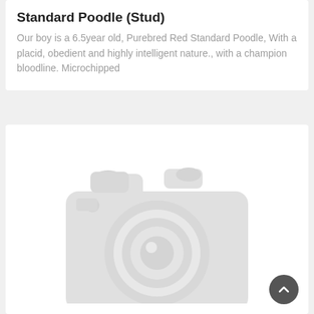Standard Poodle (Stud)
Our boy is a 6.5year old, Purebred Red Standard Poodle, With a placid, obedient and highly intelligent nature., with a champion bloodline. Microchipped
[Figure (photo): Placeholder image showing a grey camera icon on a light grey background, indicating no photo has been uploaded yet. A dark circular back-to-top button with an upward chevron is visible in the bottom-right corner.]